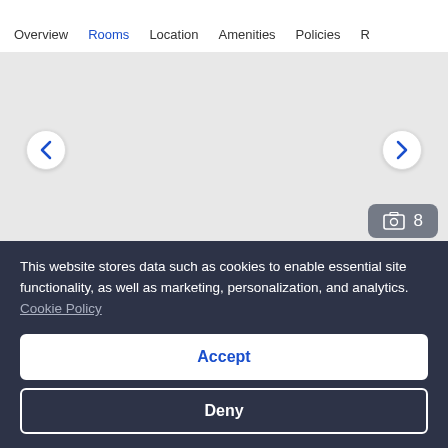Overview | Rooms | Location | Amenities | Policies | R
[Figure (photo): Hotel room image area with left/right navigation arrows and a photo count badge showing 8 photos]
Privilege, Double Room, 1 Queen Bed with Sofa bed
280 sq ft
Sleeps 4
This website stores data such as cookies to enable essential site functionality, as well as marketing, personalization, and analytics. Cookie Policy
Accept
Deny